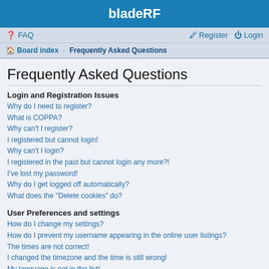bladeRF
FAQ  Register  Login
Board index · Frequently Asked Questions
Frequently Asked Questions
Login and Registration Issues
Why do I need to register?
What is COPPA?
Why can't I register?
I registered but cannot login!
Why can't I login?
I registered in the past but cannot login any more?!
I've lost my password!
Why do I get logged off automatically?
What does the "Delete cookies" do?
User Preferences and settings
How do I change my settings?
How do I prevent my username appearing in the online user listings?
The times are not correct!
I changed the timezone and the time is still wrong!
My language is not in the list!
What are the images next to my username?